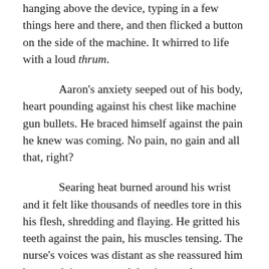hanging above the device, typing in a few things here and there, and then flicked a button on the side of the machine. It whirred to life with a loud thrum.
Aaron's anxiety seeped out of his body, heart pounding against his chest like machine gun bullets. He braced himself against the pain he knew was coming. No pain, no gain and all that, right?
Searing heat burned around his wrist and it felt like thousands of needles tore in this his flesh, shredding and flaying. He gritted his teeth against the pain, his muscles tensing. The nurse's voices was distant as she reassured him he was doing great and that it was almost over. He was about to scream when the blue light of the machine turned